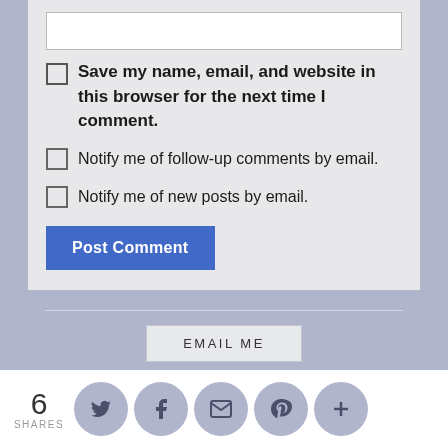[Figure (screenshot): URL input text field (white rectangle)]
[Figure (screenshot): Checkbox unchecked]
Save my name, email, and website in this browser for the next time I comment.
[Figure (screenshot): Checkbox unchecked - notify follow-up]
Notify me of follow-up comments by email.
[Figure (screenshot): Checkbox unchecked - notify new posts]
Notify me of new posts by email.
[Figure (screenshot): Post Comment button (blue)]
[Figure (screenshot): EMAIL ME button]
To contact me, send an email to
6
SHARES
[Figure (screenshot): Social share icons: Twitter, Facebook, Email, Pinterest, More]